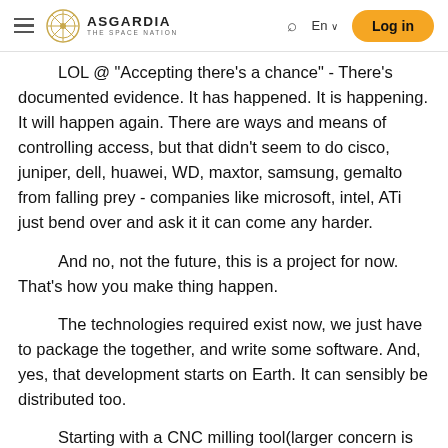Asgardia – The Space Nation | En | Log in
LOL @ "Accepting there's a chance" - There's documented evidence. It has happened. It is happening. It will happen again. There are ways and means of controlling access, but that didn't seem to do cisco, juniper, dell, huawei, WD, maxtor, samsung, gemalto from falling prey - companies like microsoft, intel, ATi just bend over and ask it it can come any harder.
And no, not the future, this is a project for now. That's how you make thing happen.
The technologies required exist now, we just have to package the together, and write some software. And, yes, that development starts on Earth. It can sensibly be distributed too.
Starting with a CNC milling tool(larger concern is debris in microgravity, not impossible to solve), a few 3D printer,